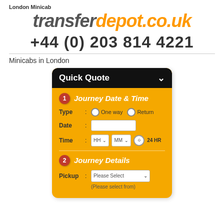London Minicab
transferdepot.co.uk
+44 (0) 203 814 4221
Minicabs in London
[Figure (screenshot): Quick Quote booking form with two sections: 1) Journey Date & Time with Type (One way/Return), Date, and Time (HH/MM/24HR) fields; 2) Journey Details with Pickup dropdown (Please Select)]